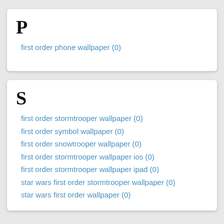P
first order phone wallpaper (0)
S
first order stormtrooper wallpaper (0)
first order symbol wallpaper (0)
first order snowtrooper wallpaper (0)
first order stormtrooper wallpaper ios (0)
first order stormtrooper wallpaper ipad (0)
star wars first order stormtrooper wallpaper (0)
star wars first order wallpaper (0)